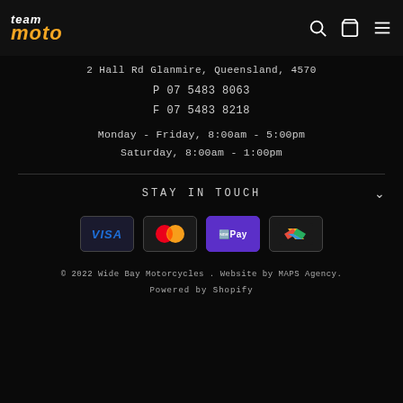[Figure (logo): Team Moto logo with 'team' in white italic and 'moto' in orange italic bold]
2 Hall Rd Glanmire, Queensland, 4570
P 07 5483 8063
F 07 5483 8218
Monday - Friday, 8:00am - 5:00pm
Saturday, 8:00am - 1:00pm
STAY IN TOUCH
[Figure (other): Payment method icons: VISA, Mastercard, OPay, and a multi-color logo]
© 2022 Wide Bay Motorcycles . Website by MAPS Agency.
Powered by Shopify